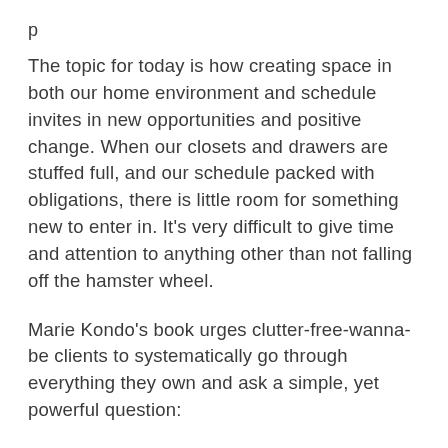The topic for today is how creating space in both our home environment and schedule invites in new opportunities and positive change. When our closets and drawers are stuffed full, and our schedule packed with obligations, there is little room for something new to enter in. It's very difficult to give time and attention to anything other than not falling off the hamster wheel.
Marie Kondo's book urges clutter-free-wanna-be clients to systematically go through everything they own and ask a simple, yet powerful question:
“Does this ________ (insert book, T-shirt, DVD, pair of pajamas, old love letter, etc.) spark joy?”